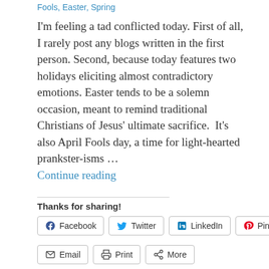Fools, Easter, Spring
I'm feeling a tad conflicted today. First of all, I rarely post any blogs written in the first person. Second, because today features two holidays eliciting almost contradictory emotions. Easter tends to be a solemn occasion, meant to remind traditional Christians of Jesus' ultimate sacrifice.  It's also April Fools day, a time for light-hearted prankster-isms ...
Continue reading
Thanks for sharing!
Facebook | Twitter | LinkedIn | Pinterest | Email | Print | More